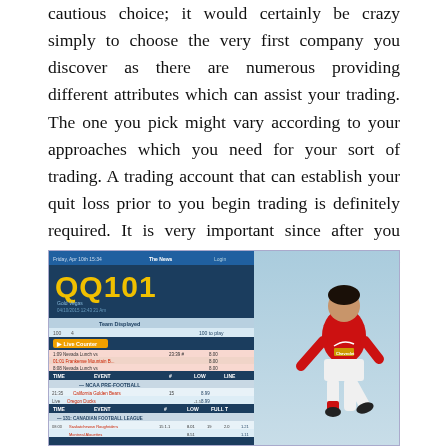cautious choice; it would certainly be crazy simply to choose the very first company you discover as there are numerous providing different attributes which can assist your trading. The one you pick might vary according to your approaches which you need for your sort of trading. A trading account that can establish your quit loss prior to you begin trading is definitely required. It is very important since after you participate in the profession and after that a quit loss is established, it might lead to the threat, since when it involves banking on the marketplaces, time and also rate indicate loan shed or got.
[Figure (screenshot): Screenshot of QQ101 sports betting website showing a betting interface with football (soccer) matches listed, including California Golden Bears and other teams, with odds columns. A Manchester United footballer in red jersey is overlaid on the right side of the image.]